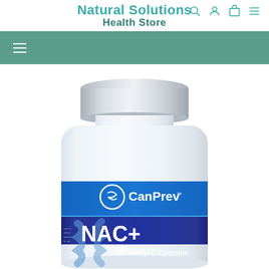Natural Solutions Health Store
[Figure (photo): A white supplement bottle with silver cap and blue label showing CanPrev brand logo and NAC+ N-Acetyl-L-Cysteine product name]